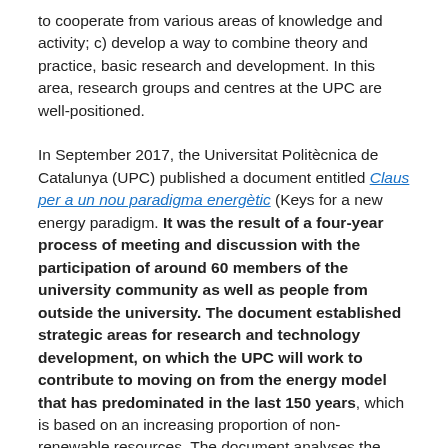to cooperate from various areas of knowledge and activity; c) develop a way to combine theory and practice, basic research and development. In this area, research groups and centres at the UPC are well-positioned.
In September 2017, the Universitat Politècnica de Catalunya (UPC) published a document entitled Claus per a un nou paradigma energètic (Keys for a new energy paradigm. It was the result of a four-year process of meeting and discussion with the participation of around 60 members of the university community as well as people from outside the university. The document established strategic areas for research and technology development, on which the UPC will work to contribute to moving on from the energy model that has predominated in the last 150 years, which is based on an increasing proportion of non-renewable resources. The document analyses the situation from the perspective of six subject areas: food; habitability;